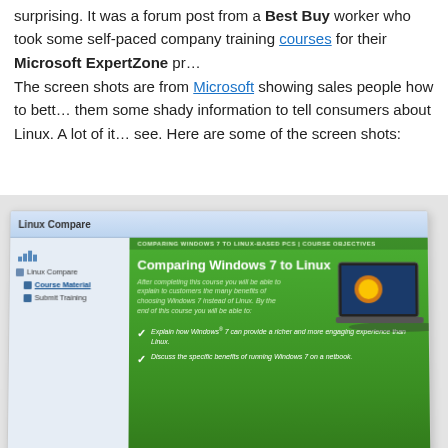surprising. It was a forum post from a Best Buy worker who took some self-paced company training courses for their Microsoft ExpertZone pr…
The screen shots are from Microsoft showing sales people how to bett… them some shady information to tell consumers about Linux. A lot of it… see. Here are some of the screen shots:
[Figure (screenshot): Screenshot of Microsoft ExpertZone training module titled 'Comparing Windows 7 to Linux'. Shows a green-themed course interface with course objectives including: 'Explain how Windows 7 can provide a richer and more engaging experience than Linux' and 'Discuss the specific benefits of running Windows 7 on a netbook'. Has a sidebar with Linux Compare navigation and an image of a laptop displaying the Windows logo.]